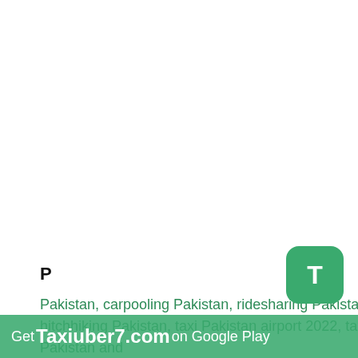P
Pakistan, carpooling Pakistan, ridesharing Pakistan, hitchhiking Pakistan, taxi Pakistan airport 2022, taxi Pakistan and send cargo to Pakistan.
[Figure (logo): Green rounded square app icon with white letter T]
Get Taxiuber7.com on Google Play